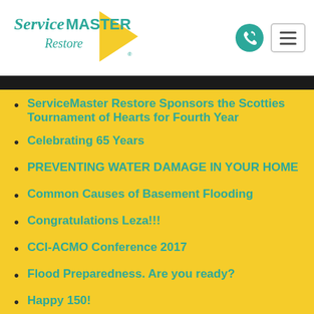[Figure (logo): ServiceMaster Restore logo with teal text and yellow triangle arrow]
ServiceMaster Restore Sponsors the Scotties Tournament of Hearts for Fourth Year
Celebrating 65 Years
PREVENTING WATER DAMAGE IN YOUR HOME
Common Causes of Basement Flooding
Congratulations Leza!!!
CCI-ACMO Conference 2017
Flood Preparedness. Are you ready?
Happy 150!
Social media icons: Facebook, Twitter, Email, Pinterest, More